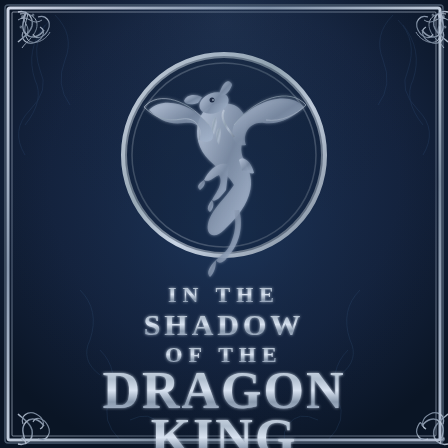[Figure (illustration): Book cover with dark navy blue background featuring ornate floral/scroll filigree patterns. A silver circular medallion at top contains a rearing dragon silhouette. Silver decorative corner ornaments at top-left and top-right and bottom corners. A silver border frames the entire cover. Large title text reads 'IN THE SHADOW OF THE DRAGON KING' in silver/metallic lettering.]
IN THE SHADOW OF THE DRAGON KING